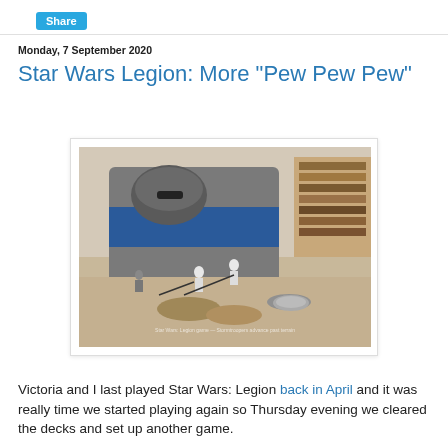Share
Monday, 7 September 2020
Star Wars Legion: More "Pew Pew Pew"
[Figure (photo): Photo of Star Wars Legion miniatures on a gaming table, showing stormtrooper figures and terrain pieces including a large blue and grey vehicle/building prop.]
Victoria and I last played Star Wars: Legion back in April and it was really time we started playing again so Thursday evening we cleared the decks and set up another game.